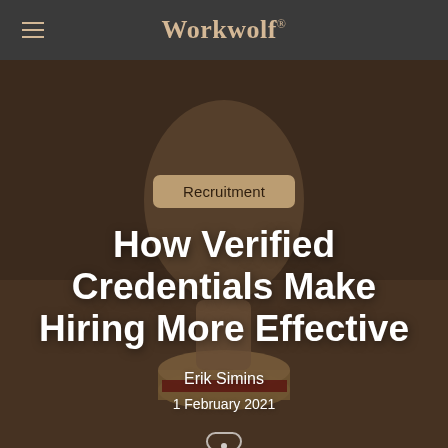Workwolf
[Figure (photo): Background photo of a hand pressing a rubber stamp onto a surface, with a red and gold stamp base visible in the foreground. The image has a warm, dark overlay.]
Recruitment
How Verified Credentials Make Hiring More Effective
Erik Simins
1 February 2021